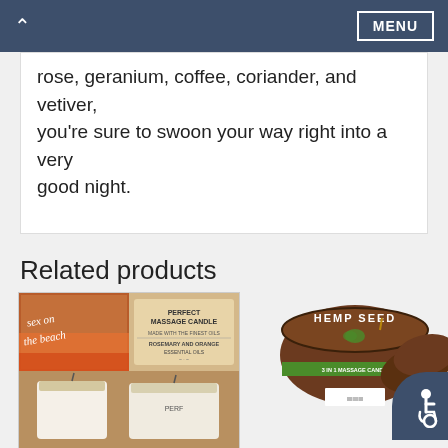🏠  MENU
rose, geranium, coffee, coriander, and vetiver, you're sure to swoon your way right into a very good night.
Related products
[Figure (photo): Product photo of massage candles labeled 'Sex on the Beach' and 'Perfect Massage Candle' with rosemary and orange scent, showing glass jar candles.]
[Figure (photo): Product photo of Hemp Seed 3-in-1 Massage Candle in a round brown tin with a green label band and a barcode, with accessibility icon overlay.]